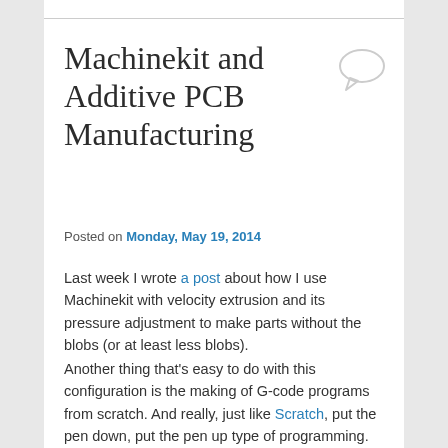Machinekit and Additive PCB Manufacturing
Posted on Monday, May 19, 2014
Last week I wrote a post about how I use Machinekit with velocity extrusion and its pressure adjustment to make parts without the blobs (or at least less blobs).
Another thing that's easy to do with this configuration is the making of G-code programs from scratch. And really, just like Scratch, put the pen down, put the pen up type of programming.
See the picture below how easy it is to experiment and verify ideas. I've tensioned 2 wires (0.10 and 0.15 mm) of